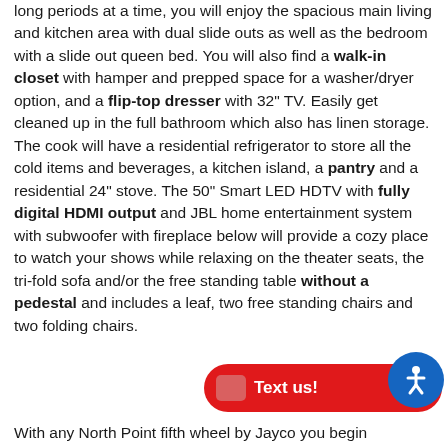long periods at a time, you will enjoy the spacious main living and kitchen area with dual slide outs as well as the bedroom with a slide out queen bed. You will also find a walk-in closet with hamper and prepped space for a washer/dryer option, and a flip-top dresser with 32" TV. Easily get cleaned up in the full bathroom which also has linen storage. The cook will have a residential refrigerator to store all the cold items and beverages, a kitchen island, a pantry and a residential 24" stove. The 50" Smart LED HDTV with fully digital HDMI output and JBL home entertainment system with subwoofer with fireplace below will provide a cozy place to watch your shows while relaxing on the theater seats, the tri-fold sofa and/or the free standing table without a pedestal and includes a leaf, two free standing chairs and two folding chairs.
[Figure (other): Red 'Text us!' chat button with accessibility icon (wheelchair figure on blue circle) in the bottom-right corner of the page]
With any North Point fifth wheel by Jayco you begin